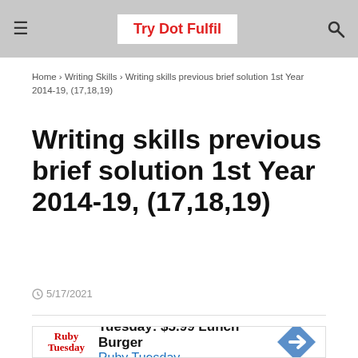Try Dot Fulfil
Home > Writing Skills > Writing skills previous brief solution 1st Year 2014-19, (17,18,19)
Writing skills previous brief solution 1st Year 2014-19, (17,18,19)
5/17/2021
[Figure (other): Advertisement for Ruby Tuesday: Tuesday: $5.99 Lunch Burger]